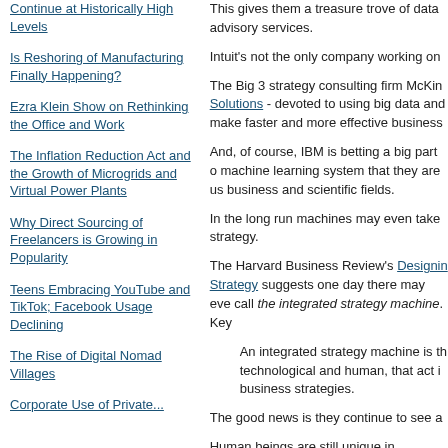Continue at Historically High Levels
Is Reshoring of Manufacturing Finally Happening?
Ezra Klein Show on Rethinking the Office and Work
The Inflation Reduction Act and the Growth of Microgrids and Virtual Power Plants
Why Direct Sourcing of Freelancers is Growing in Popularity
Teens Embracing YouTube and TikTok; Facebook Usage Declining
The Rise of Digital Nomad Villages
Corporate Use of Private...
This gives them a treasure trove of data advisory services.
Intuit's not the only company working on
The Big 3 strategy consulting firm McKin... Solutions - devoted to using big data and make faster and more effective business...
And, of course, IBM is betting a big part of machine learning system that they are using business and scientific fields.
In the long run machines may even take strategy.
The Harvard Business Review's Designing Strategy suggests one day there may even call the integrated strategy machine. Key
An integrated strategy machine is the technological and human, that act in business strategies.
The good news is they continue to see a
Human beings are still unique in